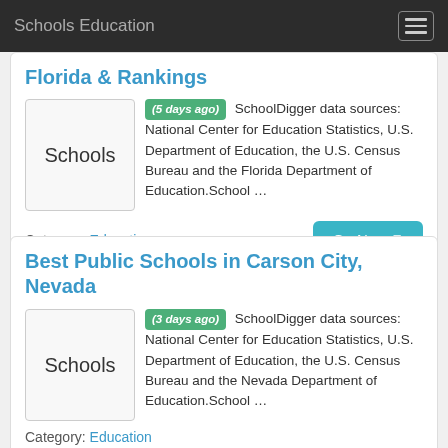Schools Education
Florida & Rankings
(5 days ago) SchoolDigger data sources: National Center for Education Statistics, U.S. Department of Education, the U.S. Census Bureau and the Florida Department of Education.School …
Category: Education
Best Public Schools in Carson City, Nevada
(3 days ago) SchoolDigger data sources: National Center for Education Statistics, U.S. Department of Education, the U.S. Census Bureau and the Nevada Department of Education.School …
Category: Education